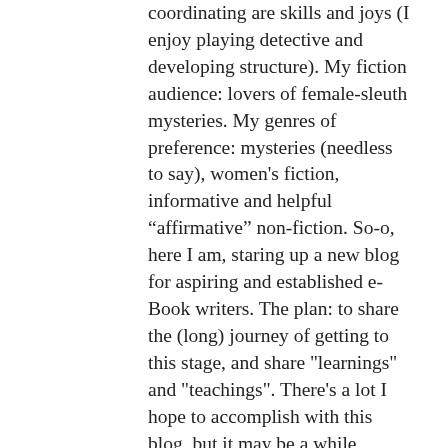coordinating are skills and joys (I enjoy playing detective and developing structure). My fiction audience: lovers of female-sleuth mysteries. My genres of preference: mysteries (needless to say), women's fiction, informative and helpful “affirmative” non-fiction. So-o, here I am, staring up a new blog for aspiring and established e-Book writers. The plan: to share the (long) journey of getting to this stage, and share "learnings" and "teachings". There's a lot I hope to accomplish with this blog, but it may be a while before that happens as there's a lot on the ol' plate – taking care of Mom, working full-time, and attempting to get another book in the Triple Threat Investigation Agency series written (never mind blog postings and other writing projects). It's very challenging and it's all good. As I like to say: teeny focused baby steps are just as effective as long forceful strides. It may take a little longer, but we will get there. View all posts by tylerus